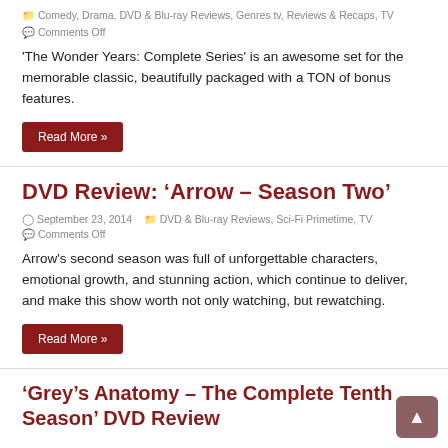Comedy, Drama, DVD & Blu-ray Reviews, Genres tv, Reviews & Recaps, TV
Comments Off
'The Wonder Years: Complete Series' is an awesome set for the memorable classic, beautifully packaged with a TON of bonus features.
Read More »
DVD Review: ‘Arrow – Season Two’
September 23, 2014   DVD & Blu-ray Reviews, Sci-Fi Primetime, TV
Comments Off
Arrow's second season was full of unforgettable characters, emotional growth, and stunning action, which continue to deliver, and make this show worth not only watching, but rewatching.
Read More »
‘Grey’s Anatomy – The Complete Tenth Season’ DVD Review